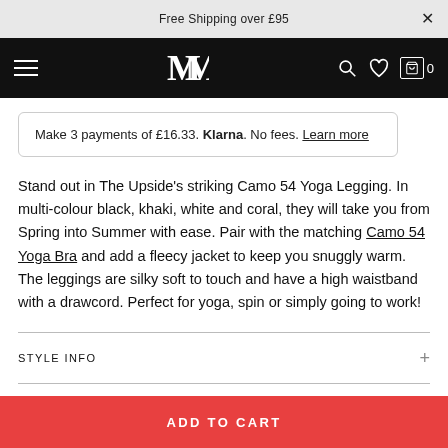Free Shipping over £95
[Figure (logo): MM brand logo with hamburger menu, search, wishlist and cart icons on black navigation bar]
Make 3 payments of £16.33. Klarna. No fees. Learn more
Stand out in The Upside's striking Camo 54 Yoga Legging. In multi-colour black, khaki, white and coral, they will take you from Spring into Summer with ease. Pair with the matching Camo 54 Yoga Bra and add a fleecy jacket to keep you snuggly warm. The leggings are silky soft to touch and have a high waistband with a drawcord. Perfect for yoga, spin or simply going to work!
STYLE INFO
DETAILS & FIT
MATERIALS & CARE
ADD TO CART